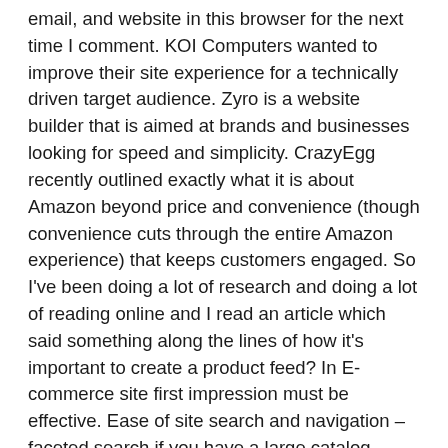email, and website in this browser for the next time I comment. KOI Computers wanted to improve their site experience for a technically driven target audience. Zyro is a website builder that is aimed at brands and businesses looking for speed and simplicity. CrazyEgg recently outlined exactly what it is about Amazon beyond price and convenience (though convenience cuts through the entire Amazon experience) that keeps customers engaged. So I've been doing a lot of research and doing a lot of reading online and I read an article which said something along the lines of how it's important to create a product feed? In E-commerce site first impression must be effective. Ease of site search and navigation – faceted search if you have a large catalog, Brand consistency across pages from PDP to checkout, Mobile responsiveness – and oftentimes, mobile first design. 8. If you understand only user interface while talking about design, than you'd probably stuck on beautiful fonts colors but these are never effects your conversion rates. 1.Direct Plants For serious inspiration on how to create a beautiful e-commerce website, take a look at this